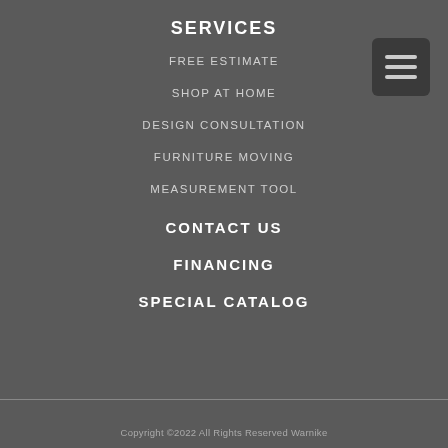SERVICES
FREE ESTIMATE
SHOP AT HOME
DESIGN CONSULTATION
FURNITURE MOVING
MEASUREMENT TOOL
CONTACT US
FINANCING
SPECIAL CATALOG
Copyright ©2022 All Rights Reserved Warnike